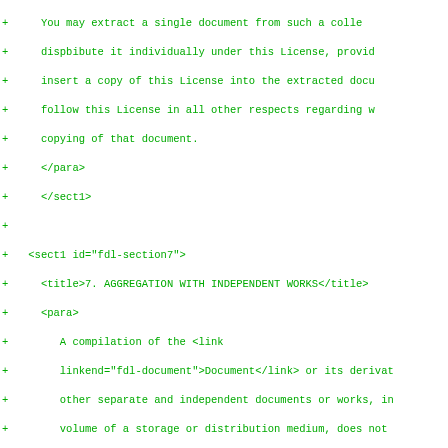Diff/code view of XML source for GNU FDL section 7, showing added lines with + markers in green monospace font
+ You may extract a single document from such a colle...
+ dispbibute it individually under this License, provid...
+ insert a copy of this License into the extracted docu...
+ follow this License in all other respects regarding w...
+ copying of that document.
+    </para>
+    </sect1>
+
+  <sect1 id="fdl-section7">
+    <title>7. AGGREGATION WITH INDEPENDENT WORKS</title>
+    <para>
+      A compilation of the <link
+      linkend="fdl-document">Document</link> or its derivat...
+      other separate and independent documents or works, i...
+      volume of a storage or distribution medium, does not...
+      count as a <link linkend="fdl-modified">Modified Vers...
+      of the Document, provided no compilation copyright i...
+      for the compilation. Such a compilation is called an...
+      <quote>aggregate</quote>, and this License does not a...
+      other self-contained works thus compiled with the Do...
+      account of their being thus compiled, if they are no...
+      derivative works of the Document. If the <link
+      linkend="fdl-cover-texts">Cover Text</link> requireme...
+      linkend="fdl-section3">section 3</link> is applicable...
+      copies of the Document, then if the Document is less...
+      quarter of the entire aggregate, the Document's Cove...
+      be placed on covers that surround only the Document w...
+      aggregate. Otherwise they must appear on covers arou...
+      aggregate.
+    </para>
+    </sect1>
+
+  <sect1 id="fdl-section8">